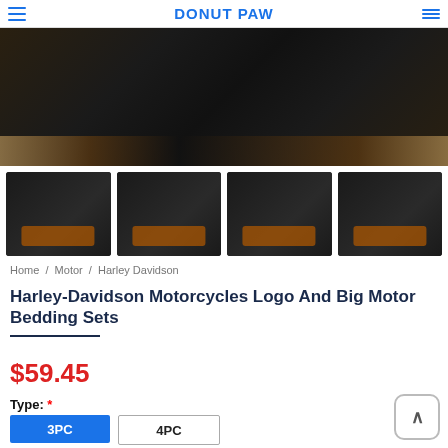DONUT PAW
[Figure (photo): Main product image showing Harley-Davidson bedding set folded, dark background with orange/brown accents]
[Figure (photo): Four thumbnail images of Harley-Davidson Motorcycles Logo bedding set in various room settings]
Home / Motor / Harley Davidson
Harley-Davidson Motorcycles Logo And Big Motor Bedding Sets
$59.45
Type: *
3PC
4PC